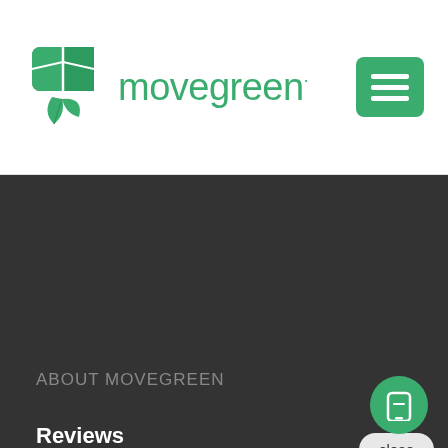[Figure (logo): Movegreen logo with green box/leaf icon and green text 'movegreen*']
[Figure (other): Green hamburger menu button with three white horizontal lines]
ABOUT MOVEGREEN
Reviews
In the News
What Makes Us G[reat]
Community Invol[vement]
close
[Figure (screenshot): Chat widget popup with movegreen leaf icon and message: Have questions? Send us a text and we will get back to you ASAP.]
Have questions? Send us a text and we will get back to you ASAP.
[Figure (other): Green circle button with white phone/SMS icon]